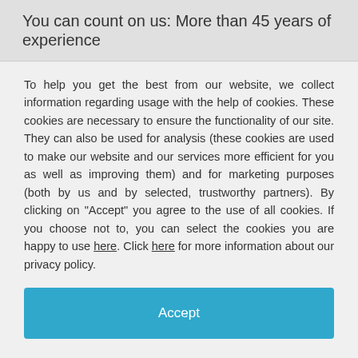You can count on us: More than 45 years of experience
To help you get the best from our website, we collect information regarding usage with the help of cookies. These cookies are necessary to ensure the functionality of our site. They can also be used for analysis (these cookies are used to make our website and our services more efficient for you as well as improving them) and for marketing purposes (both by us and by selected, trustworthy partners). By clicking on "Accept" you agree to the use of all cookies. If you choose not to, you can select the cookies you are happy to use here. Click here for more information about our privacy policy.
Accept
Decline
Configure